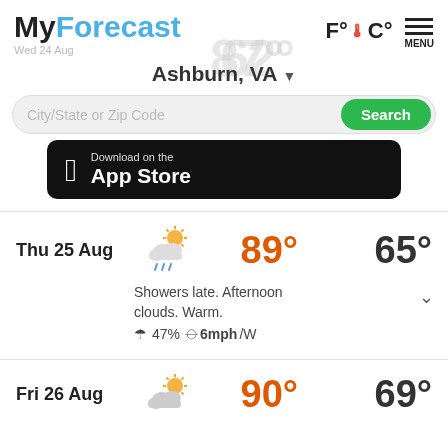MyForecast
Wed 24 Aug
F° C° MENU
Ashburn, VA ▼
City/State or Zip Code
[Figure (screenshot): Download on the App Store button (black background, Apple logo)]
Thu 25 Aug  89°  65°
Showers late. Afternoon clouds. Warm.
☂ 47%  ⊙6mph /W
Fri 26 Aug  90°  69°